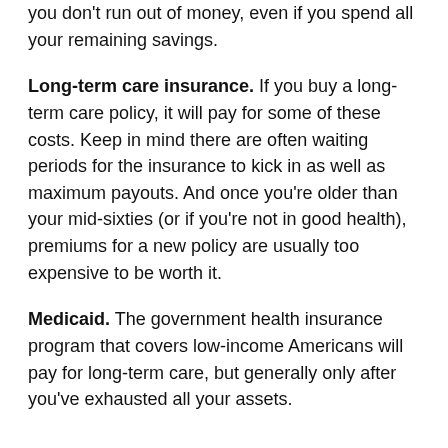you don't run out of money, even if you spend all your remaining savings.
Long-term care insurance. If you buy a long-term care policy, it will pay for some of these costs. Keep in mind there are often waiting periods for the insurance to kick in as well as maximum payouts. And once you're older than your mid-sixties (or if you're not in good health), premiums for a new policy are usually too expensive to be worth it.
Medicaid. The government health insurance program that covers low-income Americans will pay for long-term care, but generally only after you've exhausted all your assets.
How long-term care is paid for in the U.S.